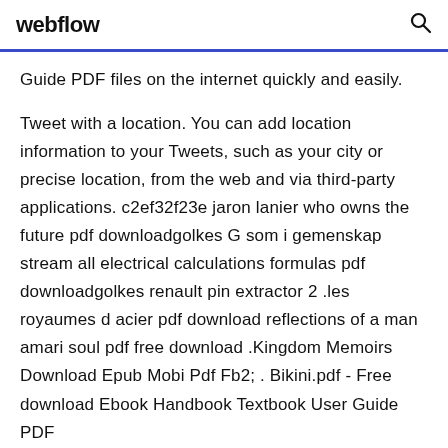webflow
Guide PDF files on the internet quickly and easily.
Tweet with a location. You can add location information to your Tweets, such as your city or precise location, from the web and via third-party applications. c2ef32f23e jaron lanier who owns the future pdf downloadgolkes G som i gemenskap stream all electrical calculations formulas pdf downloadgolkes renault pin extractor 2 .les royaumes d acier pdf download reflections of a man amari soul pdf free download .Kingdom Memoirs Download Epub Mobi Pdf Fb2; . Bikini.pdf - Free download Ebook Handbook Textbook User Guide PDF